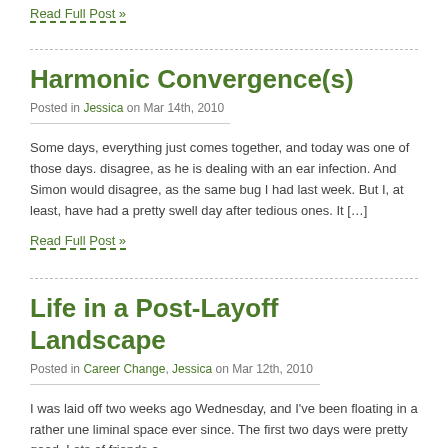Read Full Post »
Harmonic Convergence(s)
Posted in Jessica on Mar 14th, 2010
Some days, everything just comes together, and today was one of those days. disagree, as he is dealing with an ear infection. And Simon would disagree, as the same bug I had last week. But I, at least, have had a pretty swell day after tedious ones. It […]
Read Full Post »
Life in a Post-Layoff Landscape
Posted in Career Change, Jessica on Mar 12th, 2010
I was laid off two weeks ago Wednesday, and I've been floating in a rather une liminal space ever since. The first two days were pretty good. Lots of friends a